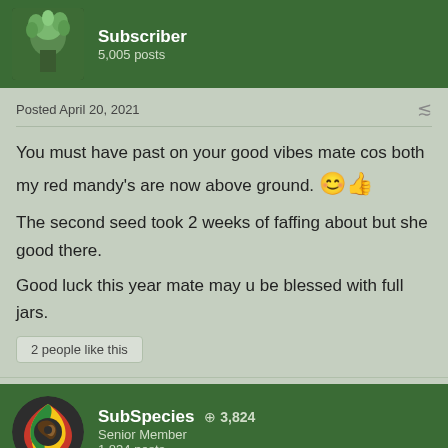Subscriber
5,005 posts
Posted April 20, 2021
You must have past on your good vibes mate cos both my red mandy's are now above ground. 😊👍 The second seed took 2 weeks of faffing about but she good there. Good luck this year mate may u be blessed with full jars.
2 people like this
SubSpecies +3,824
Senior Member
1,834 posts
Posted April 20, 2021
@murphyblue YES MAN!! Congrats bredren!! I bet that 1st seed will